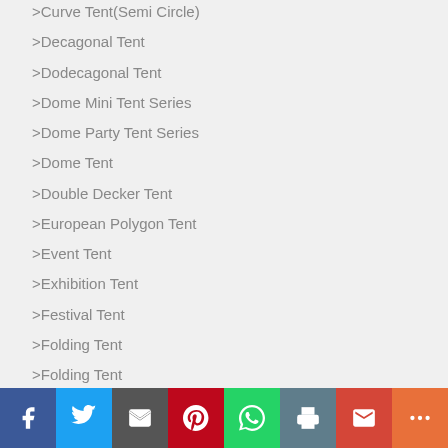>Curve Tent(Semi Circle)
>Decagonal Tent
>Dodecagonal Tent
>Dome Mini Tent Series
>Dome Party Tent Series
>Dome Tent
>Double Decker Tent
>European Polygon Tent
>Event Tent
>Exhibition Tent
>Festival Tent
>Folding Tent
>Folding Tent
>Football Tent